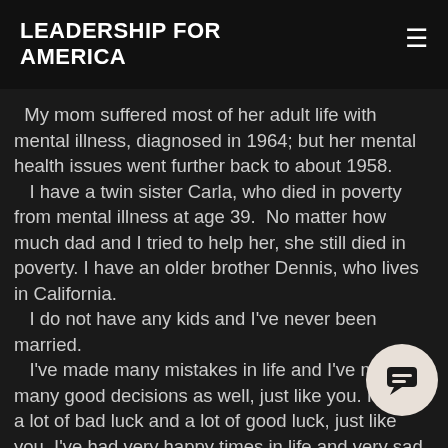LEADERSHIP FOR AMERICA
My mom suffered most of her adult life with mental illness, diagnosed in 1964; but her mental health issues went further back to about 1958.
  I have a twin sister Carla, who died in poverty from mental illness at age 39.  No matter how much dad and I tried to help her, she still died in poverty. I have an older brother Dennis, who lives in California.
  I do not have any kids and I've never been married.
  I've made many mistakes in life and I've made many good decisions as well, just like you. I've had a lot of bad luck and a lot of good luck, just like you. I've had very happy times in life and very sad times, just like you.